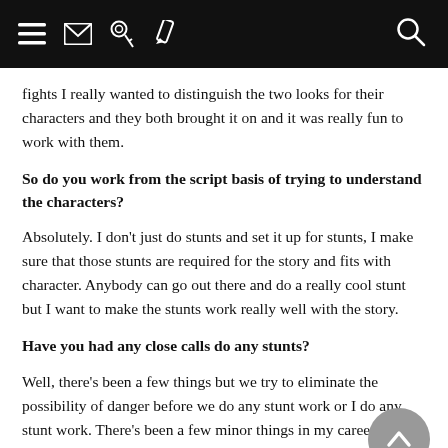[navigation bar with menu, mail, key, pencil icons on left; search icon on right]
fights I really wanted to distinguish the two looks for their characters and they both brought it on and it was really fun to work with them.
So do you work from the script basis of trying to understand the characters?
Absolutely. I don't just do stunts and set it up for stunts, I make sure that those stunts are required for the story and fits with character. Anybody can go out there and do a really cool stunt but I want to make the stunts work really well with the story.
Have you had any close calls do any stunts?
Well, there's been a few things but we try to eliminate the possibility of danger before we do any stunt work or I do any stunt work. There's been a few minor things in my career.